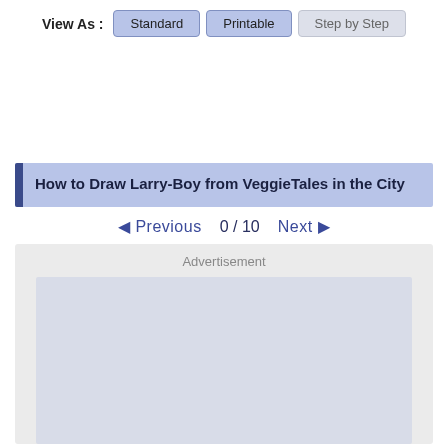View As : Standard | Printable | Step by Step
How to Draw Larry-Boy from VeggieTales in the City
◀ Previous   0 / 10   Next ▶
Advertisement